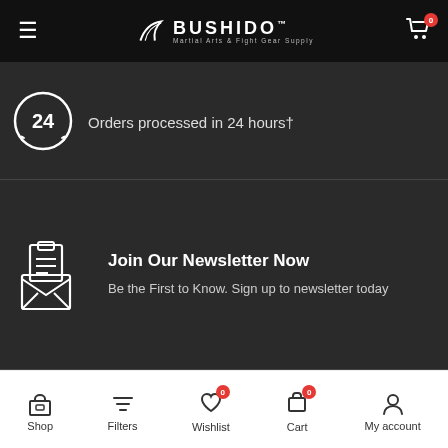BUSHIDO — Martial Arts & Fight Gear Supply
Orders processed in 24 hours†
Join Our Newsletter Now
Be the First to Know. Sign up to newsletter today
[Figure (logo): Bushido Martial Arts & Fight Gear Supply logo — chrome and silver stylized D emblem with brand name]
Shop  Filters  Wishlist  Cart  My account